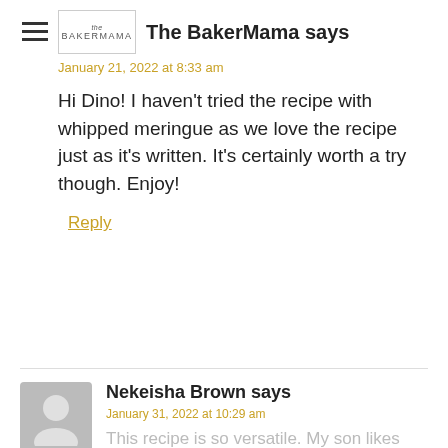[Figure (logo): Hamburger menu icon (three horizontal lines)]
The BakerMama says
January 21, 2022 at 8:33 am
Hi Dino! I haven't tried the recipe with whipped meringue as we love the recipe just as it's written. It's certainly worth a try though. Enjoy!
Reply
Nekeisha Brown says
January 31, 2022 at 10:29 am
This recipe is so versatile. My son likes